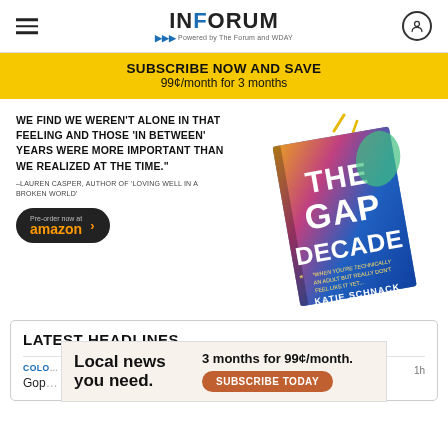INFORUM — Powered by The Forum and WDAY
SUBSCRIBE NOW AND SAVE 99¢/month for 3 months
WE FIND WE WEREN'T ALONE IN THAT FEELING AND THOSE 'IN BETWEEN' YEARS WERE MORE IMPORTANT THAN WE REALIZED AT THE TIME." –LAUREN CASPER, AUTHOR OF 'LOVING WELL IN A BROKEN WORLD'
[Figure (photo): Book cover of 'The Gap Decade' by Katie Schnack with colorful illustrated design and tagline 'When you're technically an adult but really don't feel like it yet...']
Pre-order now at amazon
LATEST HEADLINES
COLO... Gop... 1h
Local news you need. 3 months for 99¢/month. SUBSCRIBE TODAY